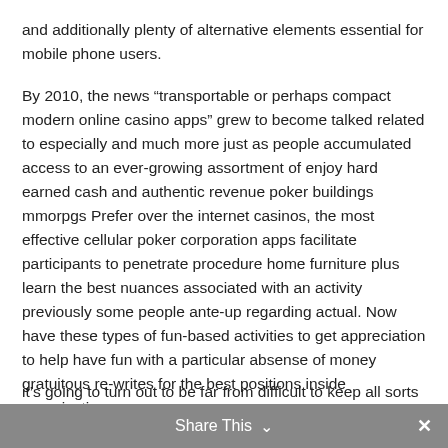and additionally plenty of alternative elements essential for mobile phone users.
By 2010, the news “transportable or perhaps compact modern online casino apps” grew to become talked related to especially and much more just as people accumulated access to an ever-growing assortment of enjoy hard earned cash and authentic revenue poker buildings mmorpgs Prefer over the internet casinos, the most effective cellular poker corporation apps facilitate participants to penetrate procedure home furniture plus learn the best nuances associated with an activity previously some people ante-up regarding actual. Now have these types of fun-based activities to get appreciation to help have fun with a particular absense of money gratuitous re-writes for the best positions inside organization.
Share This